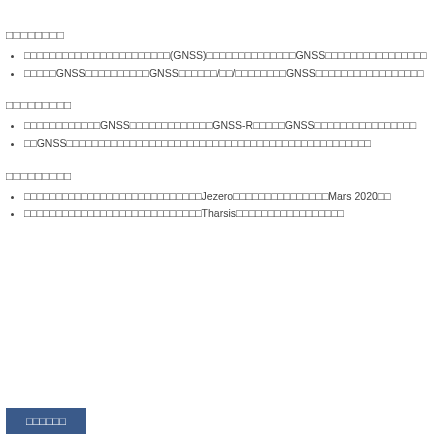□□□□□□□□
□□□□□□□□□□□□□□□□□□□□□□□(GNSS)□□□□□□□□□□□□□□GNSS□□□□□□□□□□□□□□□□
□□□□□GNSS□□□□□□□□□□GNSS□□□□□□/□□/□□□□□□□□GNSS□□□□□□□□□□□□□□□□□
□□□□□□□□□
□□□□□□□□□□□□GNSS□□□□□□□□□□□□□GNSS-R□□□□□GNSS□□□□□□□□□□□□□□□□
□□GNSS□□□□□□□□□□□□□□□□□□□□□□□□□□□□□□□□□□□□□□□□□□□□□□□□
□□□□□□□□□
□□□□□□□□□□□□□□□□□□□□□□□□□□□□Jezero□□□□□□□□□□□□□□□Mars 2020□□
□□□□□□□□□□□□□□□□□□□□□□□□□□□□Tharsis□□□□□□□□□□□□□□□□□
□□□□□□